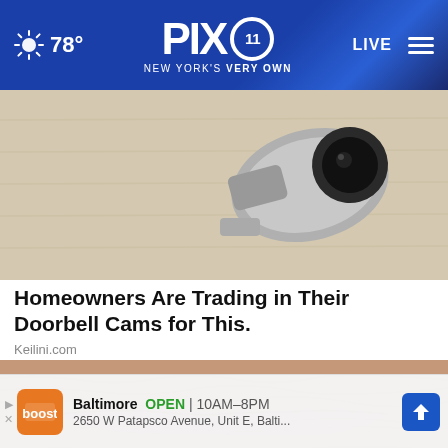PIX11 NEW YORK'S VERY OWN — LIVE — 78°
[Figure (photo): Close-up photo of a home security camera mounted on a white textured wall]
Homeowners Are Trading in Their Doorbell Cams for This.
Keilini.com
[Figure (photo): Extreme close-up photo of an elderly person's mouth and lips showing wrinkled skin]
Baltimore  OPEN | 10AM–8PM
2650 W Patapsco Avenue, Unit E, Balti...